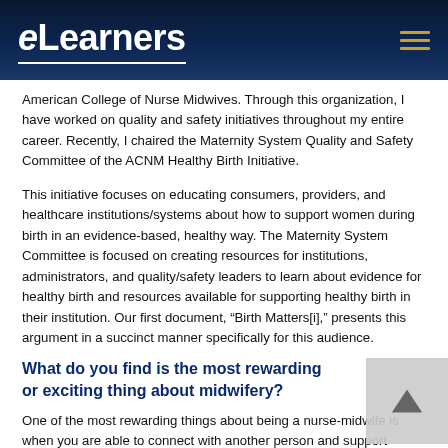eLearners
American College of Nurse Midwives. Through this organization, I have worked on quality and safety initiatives throughout my entire career. Recently, I chaired the Maternity System Quality and Safety Committee of the ACNM Healthy Birth Initiative.
This initiative focuses on educating consumers, providers, and healthcare institutions/systems about how to support women during birth in an evidence-based, healthy way. The Maternity System Committee is focused on creating resources for institutions, administrators, and quality/safety leaders to learn about evidence for healthy birth and resources available for supporting healthy birth in their institution. Our first document, “Birth Matters[i],” presents this argument in a succinct manner specifically for this audience.
What do you find is the most rewarding or exciting thing about midwifery?
One of the most rewarding things about being a nurse-midwife is when you are able to connect with another person and support